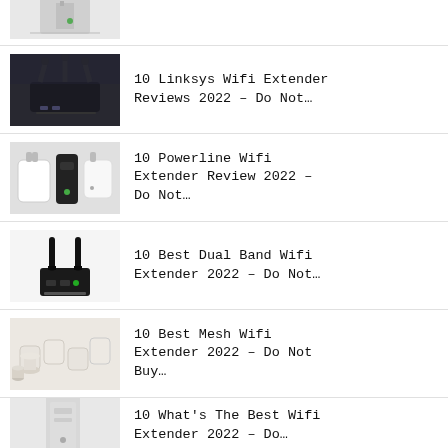[Figure (photo): Partial top item showing a white wifi device/router]
10 Linksys Wifi Extender Reviews 2022 – Do Not…
10 Powerline Wifi Extender Review 2022 – Do Not…
10 Best Dual Band Wifi Extender 2022 – Do Not…
10 Best Mesh Wifi Extender 2022 – Do Not Buy…
10 What's The Best Wifi Extender 2022 – Do…